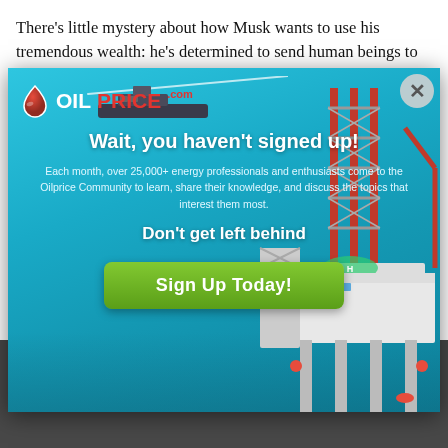There's little mystery about how Musk wants to use his tremendous wealth: he's determined to send human beings to Mars. His other company, SpaceX, is hard at work
[Figure (screenshot): OilPrice.com newsletter sign-up modal popup overlaying an article. The modal features the OilPrice logo, headline 'Wait, you haven't signed up!', body text about 25,000+ energy professionals, 'Don't get left behind' subheading, and a green 'Sign Up Today!' button. Background shows an offshore oil rig and a ship on blue water. A close (X) button is in the top right corner.]